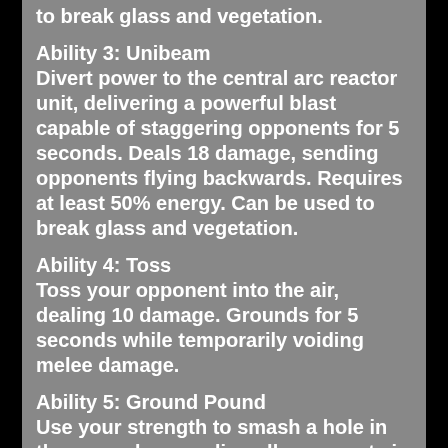to break glass and vegetation.
Ability 3: Unibeam
Divert power to the central arc reactor unit, delivering a powerful blast capable of staggering opponents for 5 seconds. Deals 18 damage, sending opponents flying backwards. Requires at least 50% energy. Can be used to break glass and vegetation.
Ability 4: Toss
Toss your opponent into the air, dealing 10 damage. Grounds for 5 seconds while temporarily voiding melee damage.
Ability 5: Ground Pound
Use your strength to smash a hole in the ground, grounding all opponents in a 4 block radius for 5 seconds. Deals 10 damage.